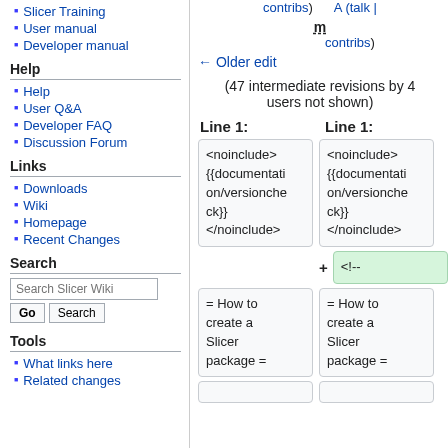Slicer Training
User manual
Developer manual
Help
Help
User Q&A
Developer FAQ
Discussion Forum
Links
Downloads
Wiki
Homepage
Recent Changes
Search
Tools
What links here
contribs)  (talk | contribs)
m
← Older edit
(47 intermediate revisions by 4 users not shown)
Line 1:  Line 1:
<noinclude> {{documentation/versioncheck}} </noinclude>
+ <!--
= How to create a Slicer package =